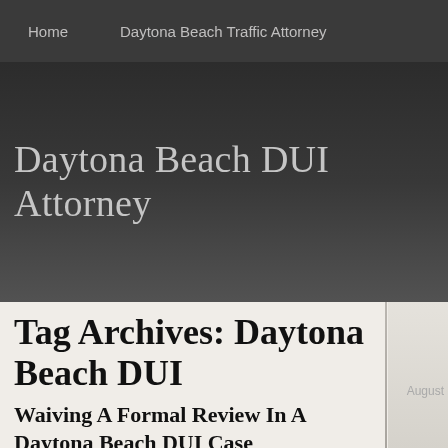Home    Daytona Beach Traffic Attorney
Daytona Beach DUI Attorney
Tag Archives: Daytona Beach DUI
Waiving A Formal Review In A Daytona Beach DUI Case
By daytonabeachduiattorney